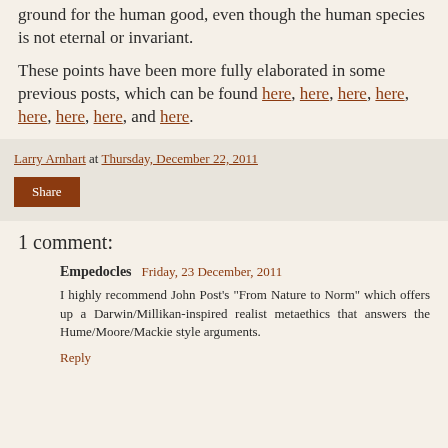ground for the human good, even though the human species is not eternal or invariant.
These points have been more fully elaborated in some previous posts, which can be found here, here, here, here, here, here, here, and here.
Larry Arnhart at Thursday, December 22, 2011 | Share
1 comment:
Empedocles  Friday, 23 December, 2011
I highly recommend John Post's "From Nature to Norm" which offers up a Darwin/Millikan-inspired realist metaethics that answers the Hume/Moore/Mackie style arguments.
Reply